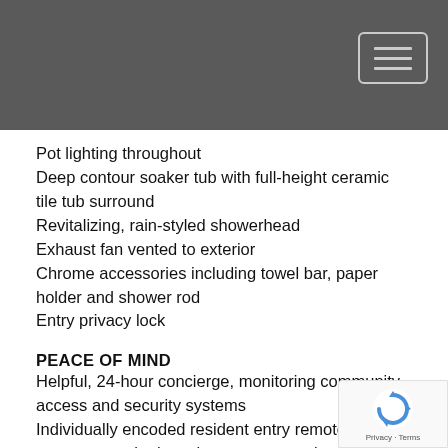Pot lighting throughout
Deep contour soaker tub with full-height ceramic tile tub surround
Revitalizing, rain-styled showerhead
Exhaust fan vented to exterior
Chrome accessories including towel bar, paper holder and shower rod
Entry privacy lock
PEACE OF MIND
Helpful, 24-hour concierge, monitoring community access and security systems
Individually encoded resident entry remote/fob for access to parkade, select entrance points, and throughout common areas
Secure elevator lock-off control access to each living